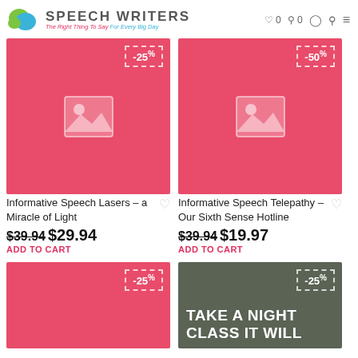Speech Writers – The Right Thing To Say For Every Big Day
[Figure (illustration): Product card image placeholder (red background) with -25% discount badge for 'Informative Speech Lasers – a Miracle of Light']
Informative Speech Lasers – a Miracle of Light
$39.94 $29.94 ADD TO CART
[Figure (illustration): Product card image placeholder (red background) with -50% discount badge for 'Informative Speech Telepathy – Our Sixth Sense Hotline']
Informative Speech Telepathy – Our Sixth Sense Hotline
$39.94 $19.97 ADD TO CART
[Figure (illustration): Product card image placeholder (red background) with -25% discount badge (bottom row left)]
[Figure (illustration): Product card (dark green background) with -25% discount badge and text 'TAKE A NIGHT CLASS IT WILL']